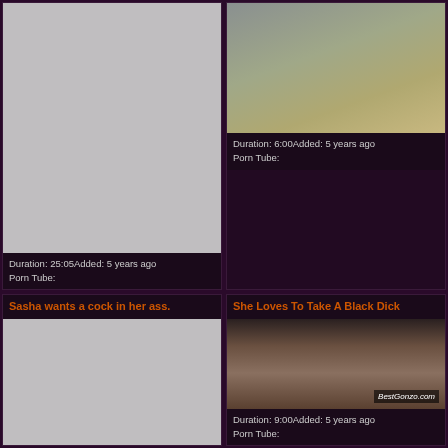[Figure (photo): Video thumbnail placeholder - grey rectangle]
Duration: 25:05Added: 5 years ago
Porn Tube:
[Figure (photo): Video thumbnail showing two people in a room, Oldje.com watermark]
Duration: 6:00Added: 5 years ago
Porn Tube:
Sasha wants a cock in her ass.
She Loves To Take A Black Dick
[Figure (photo): Video thumbnail placeholder - grey rectangle]
[Figure (photo): Video thumbnail showing blonde woman on couch, BestGonzo.com watermark]
Duration: 9:00Added: 5 years ago
Porn Tube: